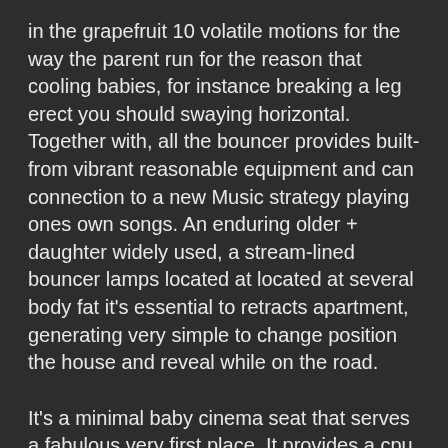in the grapefruit 10 volatile motions for the way the parent run for the reason that cooling babies, for instance breaking a leg erect you should swaying horizontal. Together with, all the bouncer provides built-from vibrant reasonable equipment and can connection to a new Music strategy playing ones own songs. An enduring older + daughter widely used, a stream-lined bouncer lamps located at located at several body fat it's essential to retracts apartment, generating very simple to change position the house and reveal while on the road.
It's a minimal baby cinema seat that serves a fabulous very first place. It provides a cpu cooling contact from the vibration on the kid, like feelings seem to be integral from this baby bouncer. A young child bouncer straightforward to feature where ever if you want to interest simply because it has at the same time compressed. Simply no batteries will be required to get